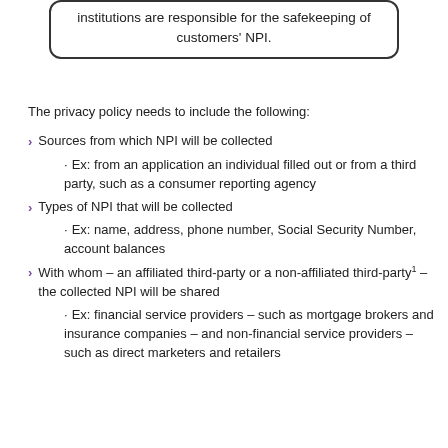institutions are responsible for the safekeeping of customers' NPI.
The privacy policy needs to include the following:
Sources from which NPI will be collected
Ex: from an application an individual filled out or from a third party, such as a consumer reporting agency
Types of NPI that will be collected
Ex: name, address, phone number, Social Security Number, account balances
With whom – an affiliated third-party or a non-affiliated third-party¹ – the collected NPI will be shared
Ex: financial service providers – such as mortgage brokers and insurance companies – and non-financial service providers – such as direct marketers and retailers